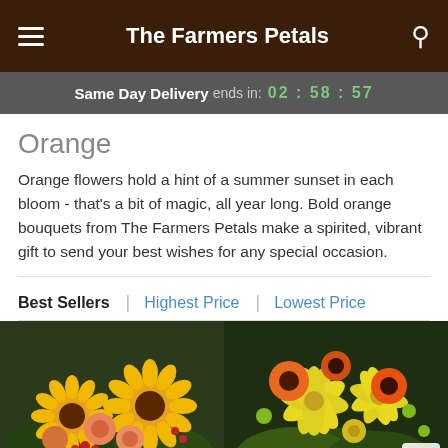The Farmers Petals
Same Day Delivery ends in: 02 : 58 : 57
Orange
Orange flowers hold a hint of a summer sunset in each bloom - that's a bit of magic, all year long. Bold orange bouquets from The Farmers Petals make a spirited, vibrant gift to send your best wishes for any special occasion.
Best Sellers | Highest Price | Lowest Price
[Figure (photo): Orange floral bouquet with sunflowers, peach roses, and red berries]
[Figure (photo): Bright yellow and orange floral arrangement with lilies, gerbera daisies, and green accents]